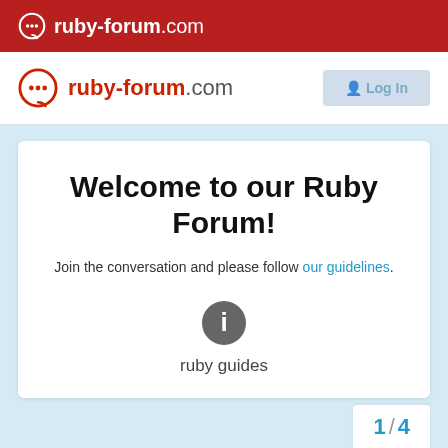ruby-forum.com
[Figure (logo): ruby-forum.com logo with chat bubble icon in navigation bar]
Welcome to our Ruby Forum!
Join the conversation and please follow our guidelines.
[Figure (infographic): Info icon (i) in a dark grey circle above 'ruby guides' text]
ruby guides
1 / 4